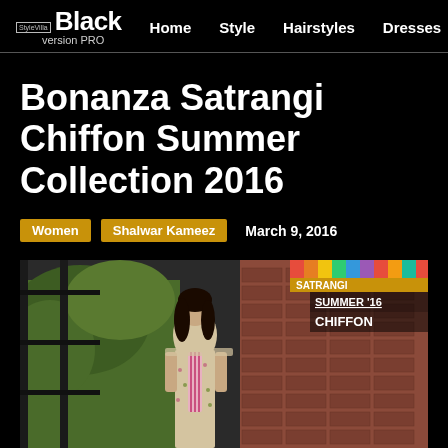StyleVilla Black version PRO | Home | Style | Hairstyles | Dresses
Bonanza Satrangi Chiffon Summer Collection 2016
Women   Shalwar Kameez   March 9, 2016
[Figure (photo): A woman in a light beige floral chiffon shalwar kameez with pink embroidery, standing in a garden setting with wrought iron gate and brick wall. The Bonanza Satrangi Summer 16 Chiffon collection logo visible top right.]